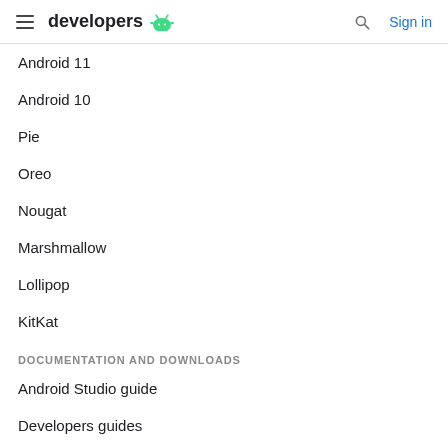developers
Android 11
Android 10
Pie
Oreo
Nougat
Marshmallow
Lollipop
KitKat
DOCUMENTATION AND DOWNLOADS
Android Studio guide
Developers guides
API reference